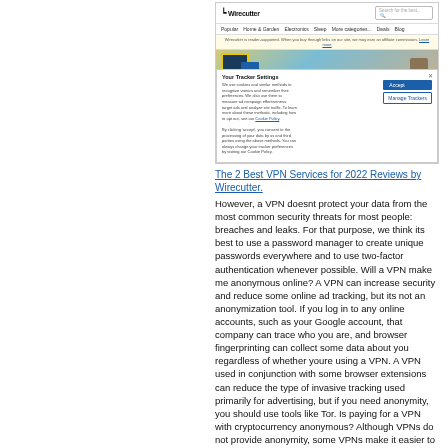[Figure (screenshot): Screenshot of The New York Times Wirecutter website showing navigation bar, product image of tablet and mug, and a cookie consent popup overlay with 'Accept' and 'Manage Tracker' buttons.]
The 2 Best VPN Services for 2022 Reviews by Wirecutter.
However, a VPN doesnt protect your data from the most common security threats for most people: breaches and leaks. For that purpose, we think its best to use a password manager to create unique passwords everywhere and to use two-factor authentication whenever possible. Will a VPN make me anonymous online? A VPN can increase security and reduce some online ad tracking, but its not an anonymization tool. If you log in to any online accounts, such as your Google account, that company can trace who you are, and browser fingerprinting can collect some data about you regardless of whether youre using a VPN. A VPN used in conjunction with some browser extensions can reduce the type of invasive tracking used primarily for advertising, but if you need anonymity, you should use tools like Tor. Is paying for a VPN with cryptocurrency anonymous? Although VPNs do not provide anonymity, some VPNs make it easier to disclose as little as possible about yourself to them when youre signing up.